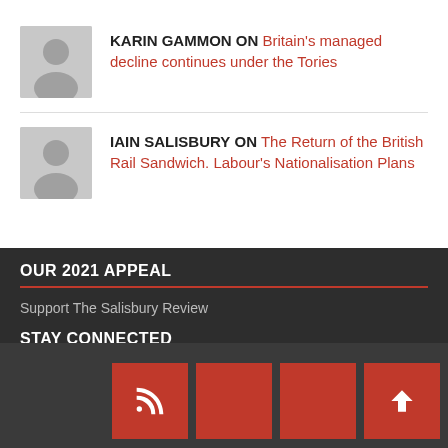KARIN GAMMON ON Britain's managed decline continues under the Tories
IAIN SALISBURY ON The Return of the British Rail Sandwich. Labour's Nationalisation Plans
OUR 2021 APPEAL
Support The Salisbury Review
STAY CONNECTED